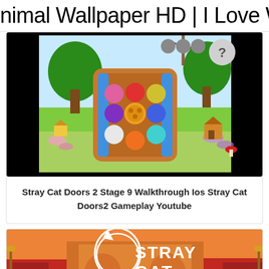nimal Wallpaper HD | I Love Wallpap
[Figure (screenshot): Screenshot of Stray Cat Doors 2 Stage 9 gameplay showing a colorful puzzle board with gem pieces on a cartoon background with trees and flowers]
Stray Cat Doors 2 Stage 9 Walkthrough Ios Stray Cat Doors2 Gameplay Youtube
[Figure (screenshot): Screenshot of Stray Cat Doors game title screen showing STRAY CAT DOORS text with a stylized cat logo on a warm red/orange train station background]